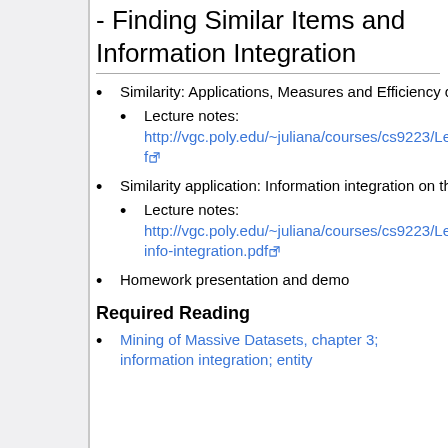- Finding Similar Items and Information Integration
Similarity: Applications, Measures and Efficiency considerations
Lecture notes: http://vgc.poly.edu/~juliana/courses/cs9223/Lectures/similarity.pdf
Similarity application: Information integration on the Web:
Lecture notes: http://vgc.poly.edu/~juliana/courses/cs9223/Lectures/web-info-integration.pdf
Homework presentation and demo
Required Reading
Mining of Massive Datasets, chapter 3; information integration; entity